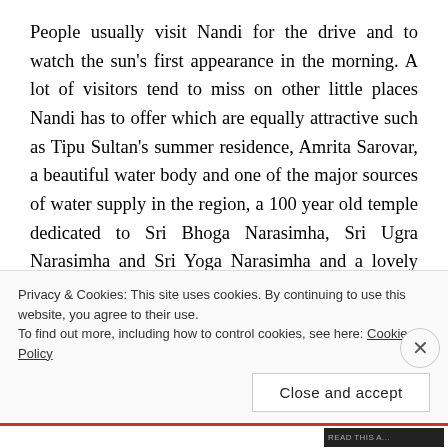People usually visit Nandi for the drive and to watch the sun's first appearance in the morning. A lot of visitors tend to miss on other little places Nandi has to offer which are equally attractive such as Tipu Sultan's summer residence, Amrita Sarovar, a beautiful water body and one of the major sources of water supply in the region, a 100 year old temple dedicated to Sri Bhoga Narasimha, Sri Ugra Narasimha and Sri Yoga Narasimha and a lovely garden maintained by Horticulture department. There is Tipu's Drop view point which is believed to have that name as this drop
Privacy & Cookies: This site uses cookies. By continuing to use this website, you agree to their use.
To find out more, including how to control cookies, see here: Cookie Policy
Close and accept